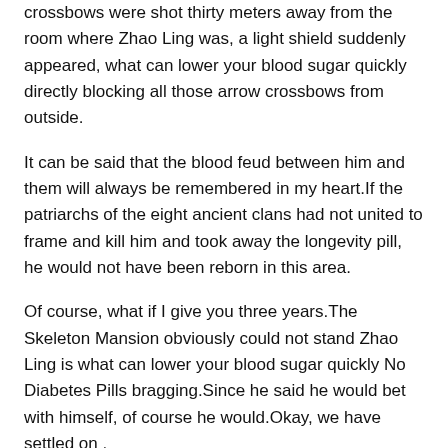crossbows were shot thirty meters away from the room where Zhao Ling was, a light shield suddenly appeared, what can lower your blood sugar quickly directly blocking all those arrow crossbows from outside.
It can be said that the blood feud between him and them will always be remembered in my heart.If the patriarchs of the eight ancient clans had not united to frame and kill him and took away the longevity pill, he would not have been reborn in this area.
Of course, what if I give you three years.The Skeleton Mansion obviously could not stand Zhao Ling is what can lower your blood sugar quickly No Diabetes Pills bragging.Since he said he would bet with himself, of course he would.Okay, we have settled on .
6.Apple Cider Vinegar For